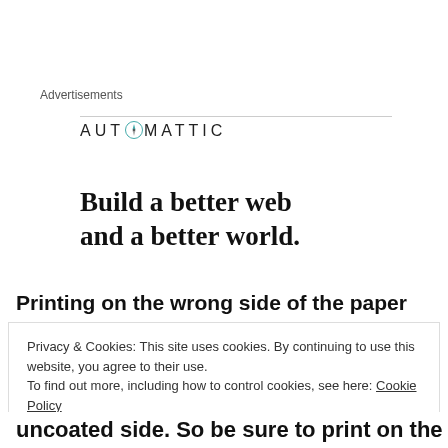Advertisements
[Figure (logo): Automattic logo with compass icon and uppercase lettered text]
Build a better web and a better world.
Printing on the wrong side of the paper
Privacy & Cookies: This site uses cookies. By continuing to use this website, you agree to their use.
To find out more, including how to control cookies, see here: Cookie Policy
Close and accept
uncoated side. So be sure to print on the